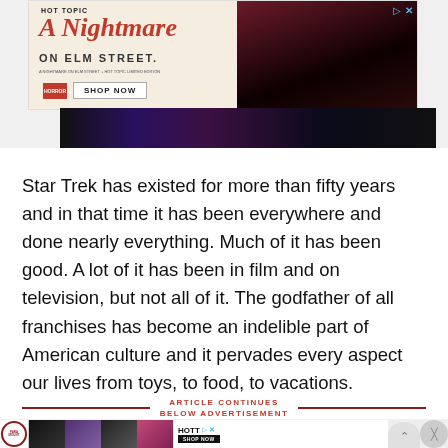[Figure (photo): Hot Topic advertisement banner for 'A Nightmare on Elm Street' merchandise featuring two models in horror-themed clothing with a 'SHOP NOW' button]
Star Trek has existed for more than fifty years and in that time it has been everywhere and done nearly everything. Much of it has been good. A lot of it has been in film and on television, but not all of it. The godfather of all franchises has become an indelible part of American culture and it pervades every aspect our lives from toys, to food, to vacations.
ARTICLE CONTINUES
BELOW ADVERTISEMENT
[Figure (photo): Bottom advertisement banner featuring Hot Topic logo and models]